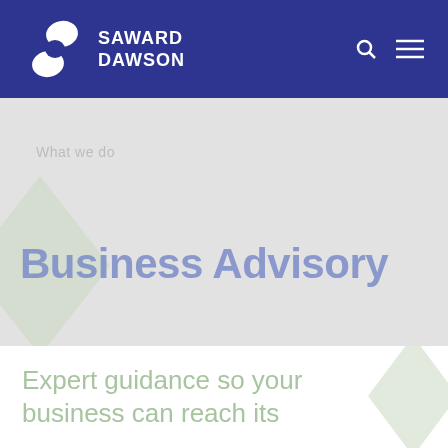[Figure (logo): Saward Dawson logo — white S-shaped icon with SAWARD DAWSON text in white on navy background, plus search and hamburger menu icons]
What we do
Business Advisory
Expert guidance so your business can reach its